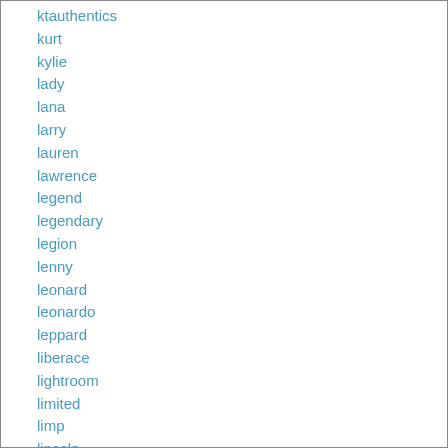ktauthentics
kurt
kylie
lady
lana
larry
lauren
lawrence
legend
legendary
legion
lenny
leonard
leonardo
leppard
liberace
lightroom
limited
limp
lincoln
linda
linkin
lita
little